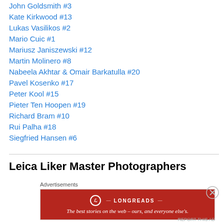John Goldsmith #3
Kate Kirkwood #13
Lukas Vasilikos #2
Mario Cuic #1
Mariusz Janiszewski #12
Martin Molinero #8
Nabeela Akhtar & Omair Barkatulla #20
Pavel Kosenko #17
Peter Kool #15
Pieter Ten Hoopen #19
Richard Bram #10
Rui Palha #18
Siegfried Hansen #6
Leica Liker Master Photographers
Advertisements
[Figure (other): Longreads advertisement banner: red background with Longreads logo and tagline 'The best stories on the web — ours, and everyone else's.']